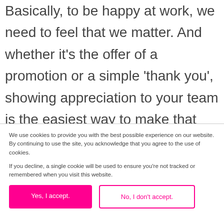Basically, to be happy at work, we need to feel that we matter. And whether it's the offer of a promotion or a simple 'thank you', showing appreciation to your team is the easiest way to make that happen. Also, don't forget to offer opportunities for growth. Offering to fund training courses or further qualifications is a way of giving something back to your hard
We use cookies to provide you with the best possible experience on our website. By continuing to use the site, you acknowledge that you agree to the use of cookies.

If you decline, a single cookie will be used to ensure you're not tracked or remembered when you visit this website.
Yes, I accept.
No, I don't accept.